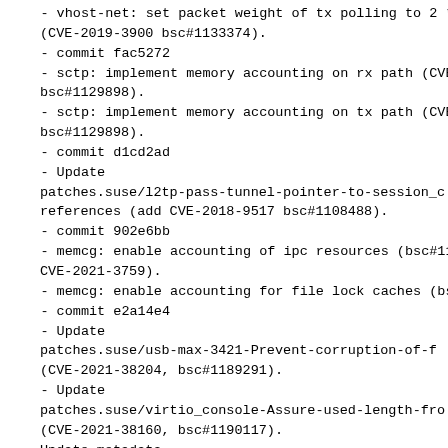- vhost-net: set packet weight of tx polling to 2 * (CVE-2019-3900 bsc#1133374).
- commit fac5272
- sctp: implement memory accounting on rx path (CVE bsc#1129898).
- sctp: implement memory accounting on tx path (CVE bsc#1129898).
- commit d1cd2ad
- Update patches.suse/l2tp-pass-tunnel-pointer-to-session_c references (add CVE-2018-9517 bsc#1108488).
- commit 902e6bb
- memcg: enable accounting of ipc resources (bsc#11 CVE-2021-3759).
- memcg: enable accounting for file lock caches (bsc
- commit e2a14e4
- Update patches.suse/usb-max-3421-Prevent-corruption-of-f (CVE-2021-38204, bsc#1189291).
- Update patches.suse/virtio_console-Assure-used-length-fro (CVE-2021-38160, bsc#1190117). Update metadata
- commit 4208778
- ocfs2: ocfs2_downconvert_lock failure results in (bsc#1188439).
- commit b239fae
- blacklist.conf: Add 2ca11b0e043b cgroup: Fix kerne
- commit 70aa566
- virtio_console: Assure used length from device is